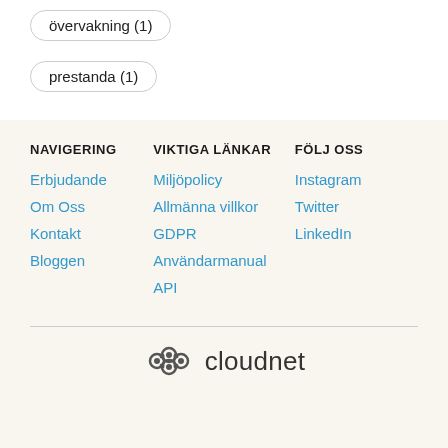övervakning (1)
prestanda (1)
NAVIGERING
Erbjudande
Om Oss
Kontakt
Bloggen
VIKTIGA LÄNKAR
Miljöpolicy
Allmänna villkor
GDPR
Användarmanual
API
FÖLJ OSS
Instagram
Twitter
LinkedIn
[Figure (logo): Cloudnet logo with gear/cloud icon and text 'cloudnet']